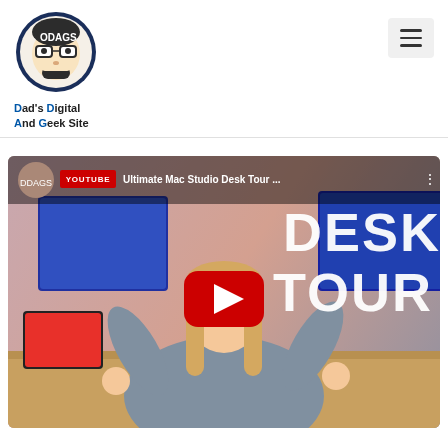[Figure (logo): DDAGS circular logo with cartoon face wearing glasses, dark blue circle outline]
Dad's Digital And Geek Site
[Figure (screenshot): YouTube video thumbnail showing a woman with long blonde hair, arms raised, standing in front of desk setup with Mac Studio monitors. Text overlay reads DESK TOUR. YouTube play button in center. Title bar reads: Ultimate Mac Studio Desk Tour ...]
Ultimate Mac Studio Desk Tour ...